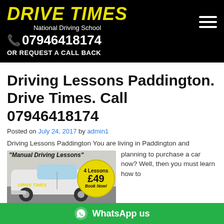DRIVE TIMES National Driving School 07946418174 OR REQUEST A CALL BACK
Driving Lessons Paddington. Drive Times. Call 07946418174
Posted on July 24, 2017 by admin1
Driving Lessons Paddington You are living in Paddington and planning to purchase a car now? Well, then you must learn how to
[Figure (photo): Drive Times driving school car (white Nissan) with Manual Driving Lessons text and a yellow badge showing 4 Lessons £49 Book Now!]
WhatsApp us